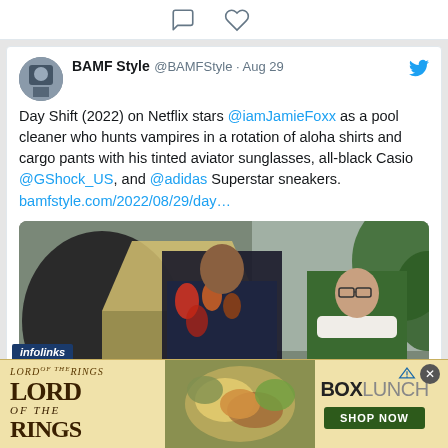[Figure (screenshot): Top bar with comment bubble icon and heart icon on white background]
BAMF Style @BAMFStyle · Aug 29
Day Shift (2022) on Netflix stars @iamJamieFoxx as a pool cleaner who hunts vampires in a rotation of aloha shirts and cargo pants with his tinted aviator sunglasses, all-black Casio @GShock_US, and @adidas Superstar sneakers. bamfstyle.com/2022/08/29/day...
[Figure (photo): Movie still from Day Shift (2022) showing Jamie Foxx in a floral/tie-dye shirt and another actor in a green polo shirt with a neck brace, in an interior setting]
[Figure (infographic): Advertisement banner: Lord of the Rings x BoxLunch shop now ad with food imagery on tan/beige background]